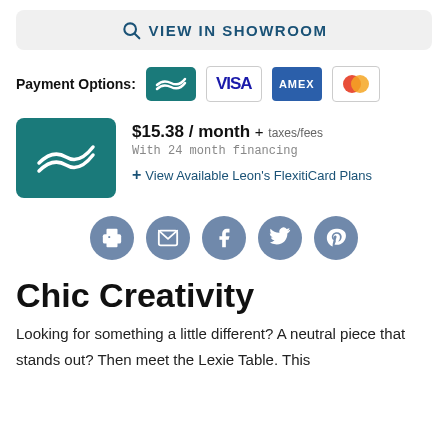[Figure (other): View in Showroom button with magnifying glass icon]
Payment Options: [Teal card logo] VISA AMEX [Mastercard]
[Figure (infographic): Leon's FlexitiCard financing: $15.38 / month + taxes/fees, With 24 month financing, + View Available Leon's FlexitiCard Plans]
[Figure (infographic): Social share icons: print, email, Facebook, Twitter, Pinterest]
Chic Creativity
Looking for something a little different? A neutral piece that stands out? Then meet the Lexie Table. This